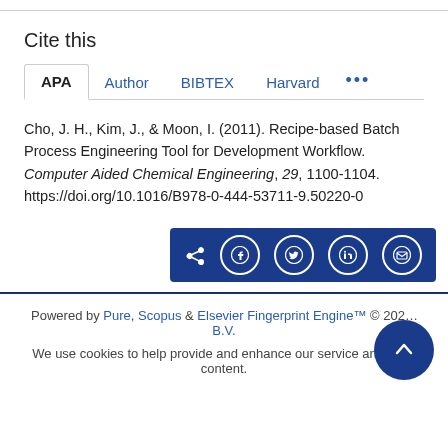Cite this
Cho, J. H., Kim, J., & Moon, I. (2011). Recipe-based Batch Process Engineering Tool for Development Workflow. Computer Aided Chemical Engineering, 29, 1100-1104. https://doi.org/10.1016/B978-0-444-53711-9.50220-0
[Figure (other): Social share bar with icons for share, Facebook, Twitter, LinkedIn, and email]
Powered by Pure, Scopus & Elsevier Fingerprint Engine™ © 202... B.V.
We use cookies to help provide and enhance our service and tailor content.